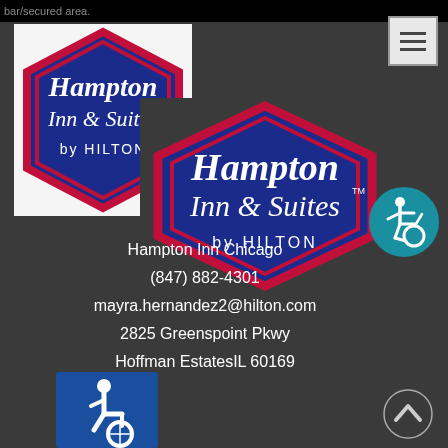bar/secured area.
[Figure (logo): Hampton Inn & Suites by Hilton logo, small version, white background with blue hexagon shape and red border]
[Figure (logo): Hampton Inn & Suites by Hilton logo, large version, dark background with blue hexagon shape and red border]
[Figure (illustration): Accessibility icon inside a teal/blue circle]
Hampton Inn Chicago
(847) 882-4301
mayra.hernandez2@hilton.com
2825 Greenspoint Pkwy
Hoffman EstatesIL 60169
[Figure (illustration): International Symbol of Access (wheelchair accessibility sign) on blue background]
[Figure (illustration): Back to top chevron arrow icon]